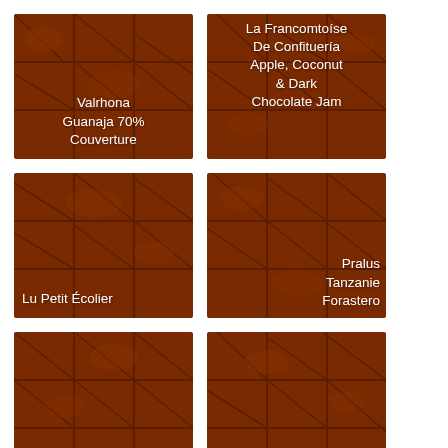[Figure (photo): Chocolate bar texture tile with text 'Valrhona Guanaja 70% Couverture' in lower center]
[Figure (photo): Chocolate bar texture tile with text 'La Francomtoise De Confituerie Apple, Coconut & Dark Chocolate Jam' centered]
[Figure (photo): Chocolate bar texture tile with text 'Lu Petit Écolier' in lower left]
[Figure (photo): Chocolate bar texture tile with text 'Pralus Tanzanie Forastero' in lower right]
[Figure (photo): Chocolate bar texture tile with partial text 'Valrhona' at bottom]
[Figure (photo): Chocolate bar texture tile with partial text 'Valrhona Les' at bottom]